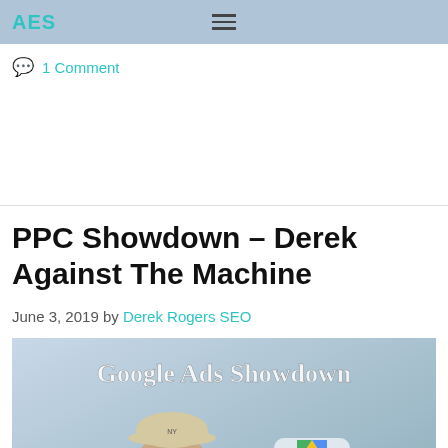AES (truncated) | hamburger menu
1 Comment
PPC Showdown – Derek Against The Machine
June 3, 2019 by Derek Rogers SEO
[Figure (illustration): Google Ads Showdown banner image showing a man wearing a cap and sunglasses on the left versus a robotic humanoid head with the Google Ads logo on the right, with text 'Google Ads Showdown' at the top and 'VS' in the middle.]